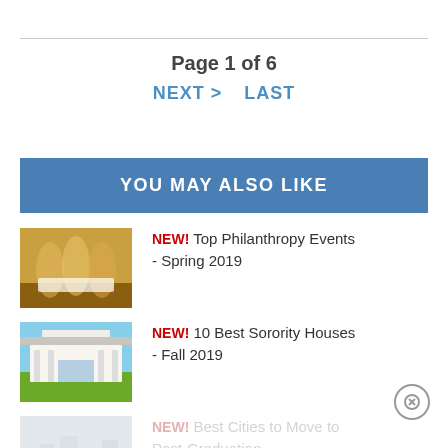Page 1 of 6
NEXT >   LAST
YOU MAY ALSO LIKE
[Figure (photo): Three young women in pink t-shirts holding a large check on a basketball court]
NEW! Top Philanthropy Events - Spring 2019
[Figure (photo): White multi-story sorority house with columns and green lawn under blue sky]
NEW! 10 Best Sorority Houses - Fall 2019
[Figure (photo): Faded cityscape photo partially visible]
NEW! Best Cities to Move to Post-Graduation